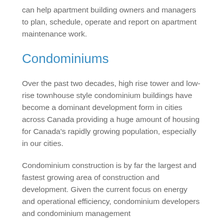can help apartment building owners and managers to plan, schedule, operate and report on apartment maintenance work.
Condominiums
Over the past two decades, high rise tower and low-rise townhouse style condominium buildings have become a dominant development form in cities across Canada providing a huge amount of housing for Canada's rapidly growing population, especially in our cities.
Condominium construction is by far the largest and fastest growing area of construction and development. Given the current focus on energy and operational efficiency, condominium developers and condominium management